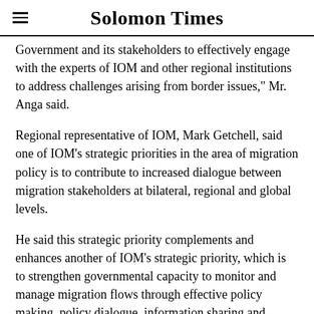Solomon Times
Government and its stakeholders to effectively engage with the experts of IOM and other regional institutions to address challenges arising from border issues," Mr. Anga said.
Regional representative of IOM, Mark Getchell, said one of IOM's strategic priorities in the area of migration policy is to contribute to increased dialogue between migration stakeholders at bilateral, regional and global levels.
He said this strategic priority complements and enhances another of IOM's strategic priority, which is to strengthen governmental capacity to monitor and manage migration flows through effective policy making, policy dialogue, information sharing and cooperation.